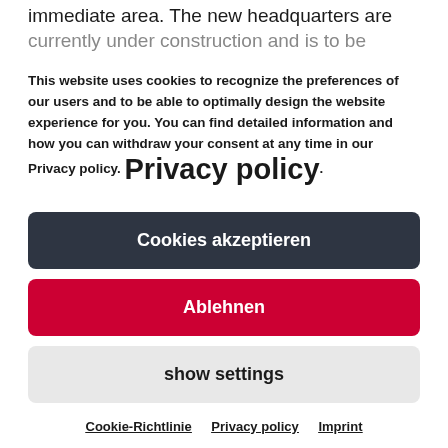immediate area. The new headquarters are currently under construction and is to be
This website uses cookies to recognize the preferences of our users and to be able to optimally design the website experience for you. You can find detailed information and how you can withdraw your consent at any time in our Privacy policy. Privacy policy.
Cookies akzeptieren
Ablehnen
show settings
Cookie-Richtlinie  Privacy policy  Imprint